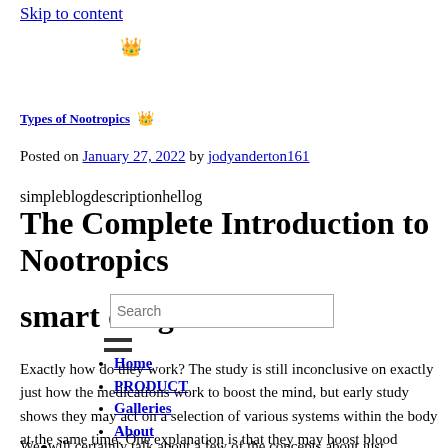Skip to content
[Figure (illustration): Small crown/decorative icon at top]
Types of Nootropics
[Figure (illustration): Small crown/decorative icon mid-page]
Posted on January 27, 2022 by jodyanderton161
simpleblogdescriptionhellog
The Complete Introduction to Nootropics
smart drug
Search
Home
PRODUCT
Galleries
About
Contact
Exactly how do they work? The study is still inconclusive on exactly just how the medications work to boost the mind, but early study shows they may act on a selection of various systems within the body at the same time. One explanation is that they may boost blood circulation to the brain, which permits the brain to utilize even more oxygen.
We will certainly talk about a few of the concepts about just